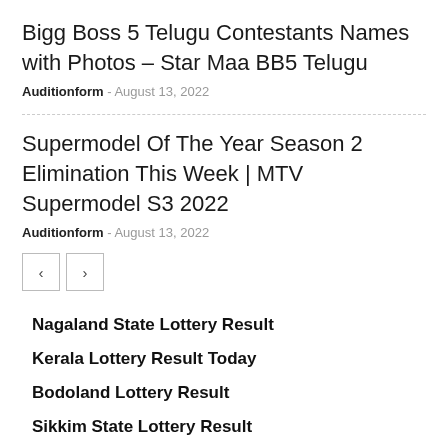Bigg Boss 5 Telugu Contestants Names with Photos – Star Maa BB5 Telugu
Auditionform - August 13, 2022
Supermodel Of The Year Season 2 Elimination This Week | MTV Supermodel S3 2022
Auditionform - August 13, 2022
Nagaland State Lottery Result
Kerala Lottery Result Today
Bodoland Lottery Result
Sikkim State Lottery Result
Khanapara Teer Result